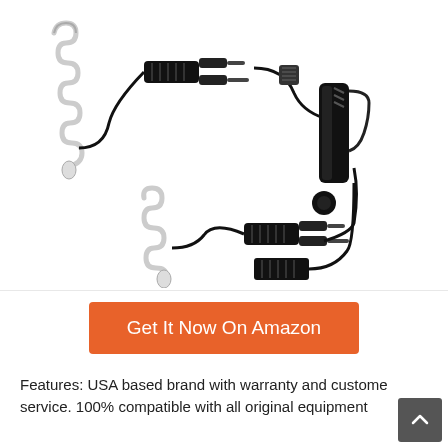[Figure (photo): Product photo of two acoustic tube earpiece surveillance headsets with coiled transparent tubes, push-to-talk connectors, audio jacks, and a radio clip attachment. Items shown on white background.]
Get It Now On Amazon
Features: USA based brand with warranty and customer service. 100% compatible with all original equipment